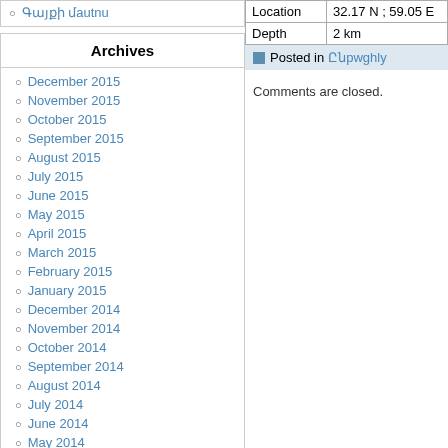Գայքի մautnu
Archives
December 2015
November 2015
October 2015
September 2015
August 2015
July 2015
June 2015
May 2015
April 2015
March 2015
February 2015
January 2015
December 2014
November 2014
October 2014
September 2014
August 2014
July 2014
June 2014
May 2014
April 2014
March 2014
February 2014
January 2014
|  |  |
| --- | --- |
| Location | 32.17 N ; 59.05 E |
| Depth | 2 km |
Posted in Ընթerqhy
Comments are closed.